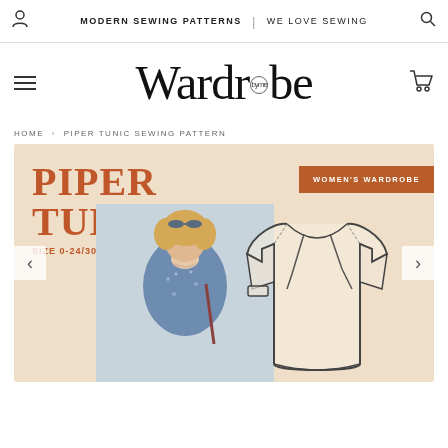MODERN SEWING PATTERNS | WE LOVE SEWING
[Figure (logo): Wardrobe by me logo in large serif font]
HOME › PIPER TUNIC SEWING PATTERN
[Figure (illustration): Product banner with beige background showing PIPER TUNIC SIZE 0-24/30-54 text, WOMEN'S WARDROBE badge, photo of woman in blue floral dress, and line drawing sketch of the tunic garment]